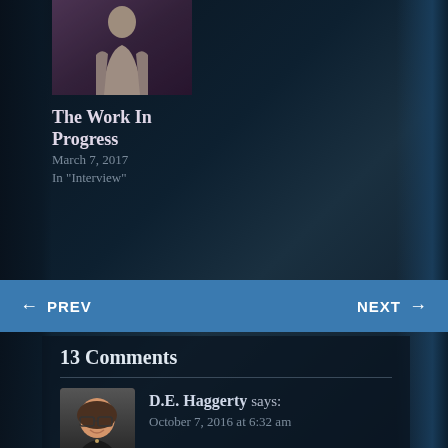[Figure (photo): Thumbnail image of a cloaked figure against dark fantasy background]
The Work In Progress
March 7, 2017
In "Interview"
← PREV
NEXT →
13 Comments
[Figure (photo): Avatar photo of D.E. Haggerty, a woman with glasses]
D.E. Haggerty says:
October 7, 2016 at 6:32 am
I'm sorry you got a 1 star review. Kind of. I'm